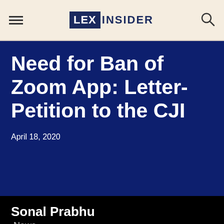LEX INSIDER
Need for Ban of Zoom App: Letter-Petition to the CJI
April 18, 2020
Sonal Prabhu
News